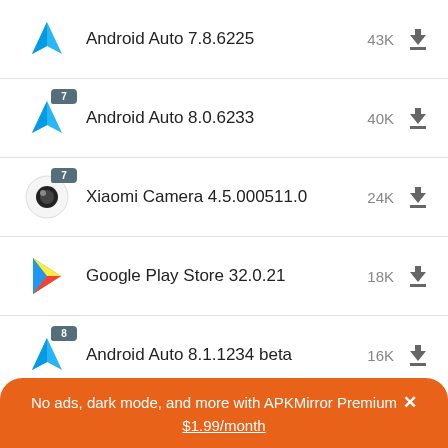Android Auto 7.8.6225 43K
Android Auto 8.0.6233 40K
Xiaomi Camera 4.5.000511.0 24K
Google Play Store 32.0.21 18K
Android Auto 8.1.1234 beta 16K
Xiaomi ... 15K
No ads, dark mode, and more with APKMirror Premium × $1.99/month